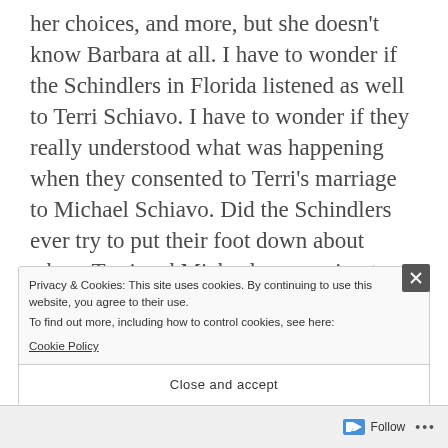her choices, and more, but she doesn't know Barbara at all. I have to wonder if the Schindlers in Florida listened as well to Terri Schiavo. I have to wonder if they really understood what was happening when they consented to Terri's marriage to Michael Schiavo. Did the Schindlers ever try to put their foot down about where Terri and Michael were going to live? Or about which church they would attend services at? Who made those decisions?
Privacy & Cookies: This site uses cookies. By continuing to use this website, you agree to their use.
To find out more, including how to control cookies, see here:
Cookie Policy
Close and accept
Follow